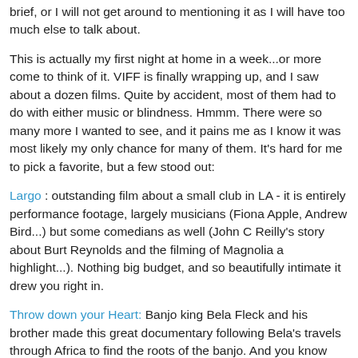brief, or I will not get around to mentioning it as I will have too much else to talk about.
This is actually my first night at home in a week...or more come to think of it. VIFF is finally wrapping up, and I saw about a dozen films. Quite by accident, most of them had to do with either music or blindness. Hmmm. There were so many more I wanted to see, and it pains me as I know it was most likely my only chance for many of them. It's hard for me to pick a favorite, but a few stood out:
Largo : outstanding film about a small club in LA - it is entirely performance footage, largely musicians (Fiona Apple, Andrew Bird...) but some comedians as well (John C Reilly's story about Burt Reynolds and the filming of Magnolia a highlight...). Nothing big budget, and so beautifully intimate it drew you right in.
Throw down your Heart: Banjo king Bela Fleck and his brother made this great documentary following Bela's travels through Africa to find the roots of the banjo. And you know how much I like banjo.
R... John Wall...beautifully...but beautifully...